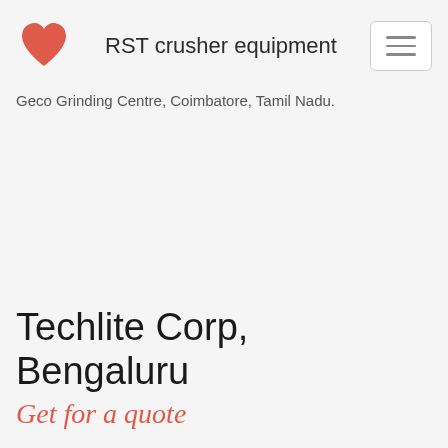RST crusher equipment
Geco Grinding Centre, Coimbatore, Tamil Nadu.
Techlite Corp, Bengaluru
Get for a quote